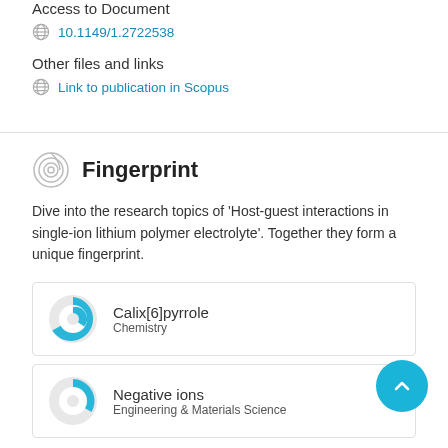Access to Document
10.1149/1.2722538
Other files and links
Link to publication in Scopus
Fingerprint
Dive into the research topics of 'Host-guest interactions in single-ion lithium polymer electrolyte'. Together they form a unique fingerprint.
Calix[6]pyrrole
Chemistry
Negative ions
Engineering & Materials Science